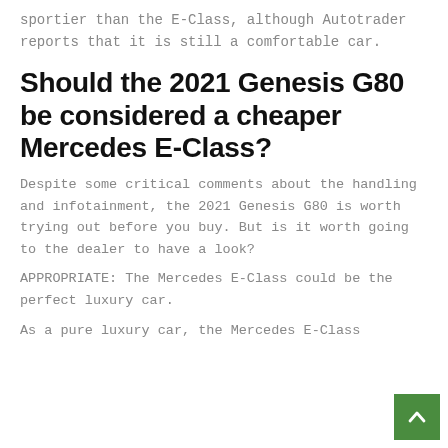sportier than the E-Class, although Autotrader reports that it is still a comfortable car.
Should the 2021 Genesis G80 be considered a cheaper Mercedes E-Class?
Despite some critical comments about the handling and infotainment, the 2021 Genesis G80 is worth trying out before you buy. But is it worth going to the dealer to have a look?
APPROPRIATE: The Mercedes E-Class could be the perfect luxury car.
As a pure luxury car, the Mercedes E-Class